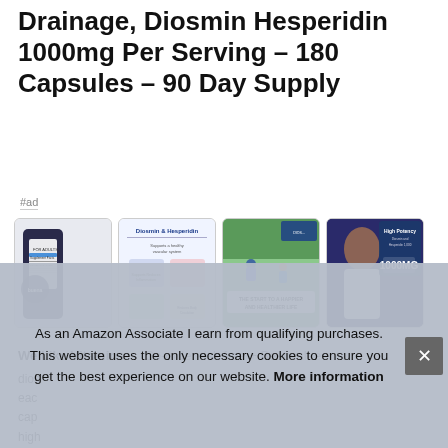Drainage, Diosmin Hesperidin 1000mg Per Serving – 180 Capsules – 90 Day Supply
#ad
[Figure (photo): Four product thumbnail images: supplement bottle with nutrition facts, Diosmin & Hesperidin infographic, two people cycling with text 'The start to a happier and healthier life', and a woman smiling with High Potency 1000mg product]
We Like Vitamins   Co-order risk free + Best value
dios
eac
cap
high
As an Amazon Associate I earn from qualifying purchases. This website uses the only necessary cookies to ensure you get the best experience on our website. More information